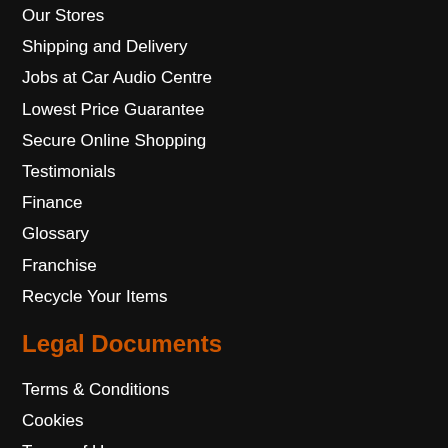Our Stores
Shipping and Delivery
Jobs at Car Audio Centre
Lowest Price Guarantee
Secure Online Shopping
Testimonials
Finance
Glossary
Franchise
Recycle Your Items
Legal Documents
Terms & Conditions
Cookies
Terms of Use
Privacy Policy
Lets Talk
Sales: 0330 320 5050
We are open: